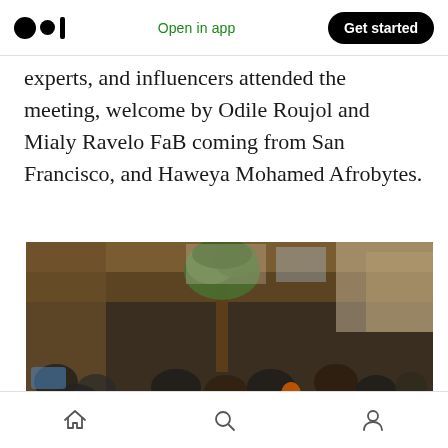Medium app header — Open in app | Get started
experts, and influencers attended the meeting, welcome by Odile Roujol and Mialy Ravelo FaB coming from San Francisco, and Haweya Mohamed Afrobytes.
[Figure (photo): Aerial/overhead view of a large group of people gathered in an elegant indoor venue with wooden panelling, a staircase, and a large potted tree in the center. Attendees are seated and standing around the tree at a networking or conference event.]
Bottom navigation bar with home, search, and profile icons